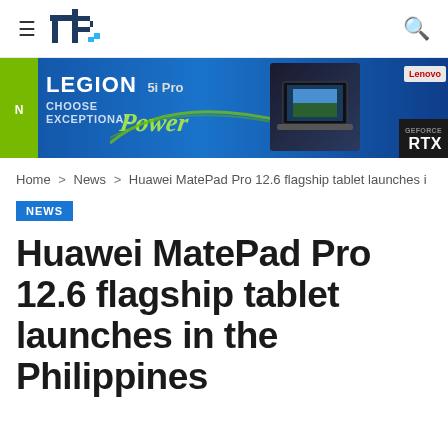tb [logo] [search icon]
[Figure (other): Lenovo Legion 5i Pro advertisement banner with blue background, NVIDIA logo, 'LEGION 5i Pro CHOOSE EXCEPTIONAL Power' text, laptop image, Lenovo logo, and GeForce RTX logo]
Home > News > Huawei MatePad Pro 12.6 flagship tablet launches i
NEWS
Huawei MatePad Pro 12.6 flagship tablet launches in the Philippines